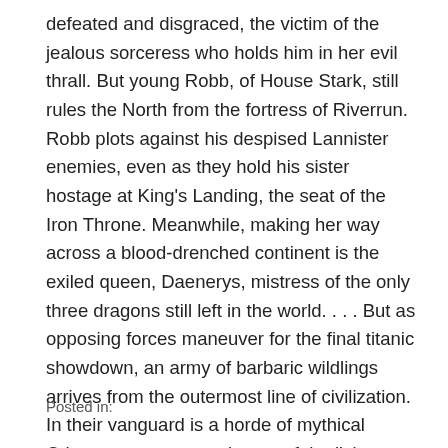defeated and disgraced, the victim of the jealous sorceress who holds him in her evil thrall. But young Robb, of House Stark, still rules the North from the fortress of Riverrun. Robb plots against his despised Lannister enemies, even as they hold his sister hostage at King's Landing, the seat of the Iron Throne. Meanwhile, making her way across a blood-drenched continent is the exiled queen, Daenerys, mistress of the only three dragons still left in the world. . . . But as opposing forces maneuver for the final titanic showdown, an army of barbaric wildlings arrives from the outermost line of civilization. In their vanguard is a horde of mythical Others--a supernatural army of the living dead whose animated corpses are unstoppable. As the future of the land hangs in the balance, no one will rest until the Seven Kingdoms have exploded in a veritable storm of swords. . . .
Posted in: